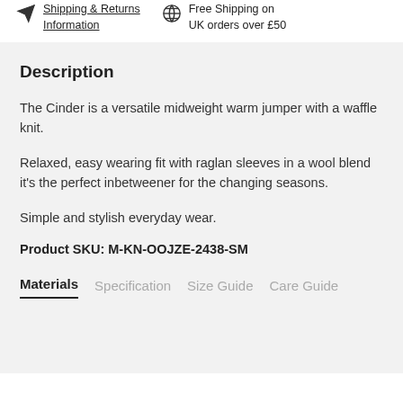Shipping & Returns Information  Free Shipping on UK orders over £50
Description
The Cinder is a versatile midweight warm jumper with a waffle knit.
Relaxed, easy wearing fit with raglan sleeves in a wool blend it's the perfect inbetweener for the changing seasons.
Simple and stylish everyday wear.
Product SKU: M-KN-OOJZE-2438-SM
Materials  Specification  Size Guide  Care Guide